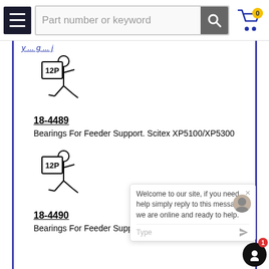Part number or keyword
[Figure (illustration): Running stick figure carrying a sign showing '12P' - product placeholder image for part 18-4489]
18-4489
Bearings For Feeder Support. Scitex XP5100/XP5300
[Figure (illustration): Running stick figure carrying a sign showing '12P' - product placeholder image for part 18-4490]
18-4490
Bearings For Feeder Support. Scitex XP5100/XP5300
[Figure (illustration): Running stick figure carrying a sign showing '12P' - product placeholder image for part 358000197]
358000197
Urethane Mold Bearing Dia. 35
[Figure (illustration): Running stick figure carrying a sign showing '12P' - product placeholder image for next item (partial)]